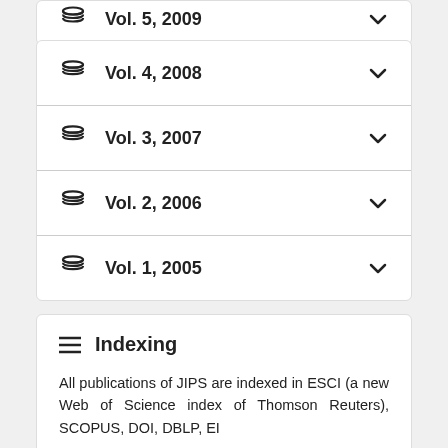Vol. 4, 2008
Vol. 3, 2007
Vol. 2, 2006
Vol. 1, 2005
Indexing
All publications of JIPS are indexed in ESCI (a new Web of Science index of Thomson Reuters), SCOPUS, DOI, DBLP, EI